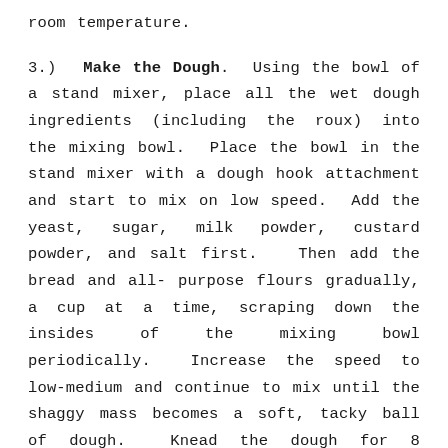room temperature.
3.) Make the Dough. Using the bowl of a stand mixer, place all the wet dough ingredients (including the roux) into the mixing bowl. Place the bowl in the stand mixer with a dough hook attachment and start to mix on low speed. Add the yeast, sugar, milk powder, custard powder, and salt first. Then add the bread and all-purpose flours gradually, a cup at a time, scraping down the insides of the mixing bowl periodically. Increase the speed to low-medium and continue to mix until the shaggy mass becomes a soft, tacky ball of dough. Knead the dough for 8 minutes. Transfer the tacky ball of dough to an oiled bowl to proof, lightly coating all sides of the dough with some of the same oil. Cover the bowl lightly with plastic wrap. Let the dough proof in a